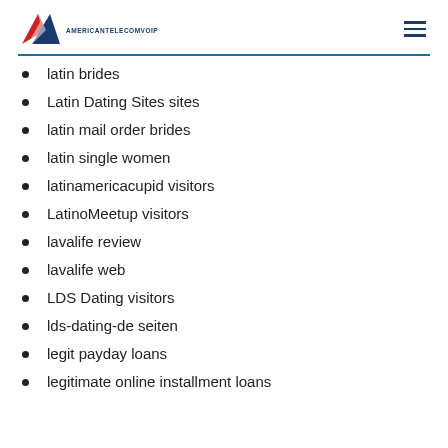AMERICANTELECOMVOIP
latin brides
Latin Dating Sites sites
latin mail order brides
latin single women
latinamericacupid visitors
LatinoMeetup visitors
lavalife review
lavalife web
LDS Dating visitors
lds-dating-de seiten
legit payday loans
legitimate online installment loans